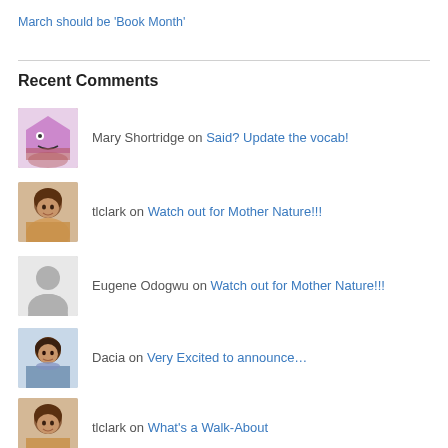March should be 'Book Month'
Recent Comments
Mary Shortridge on Said? Update the vocab!
tlclark on Watch out for Mother Nature!!!
Eugene Odogwu on Watch out for Mother Nature!!!
Dacia on Very Excited to announce…
tlclark on What's a Walk-About